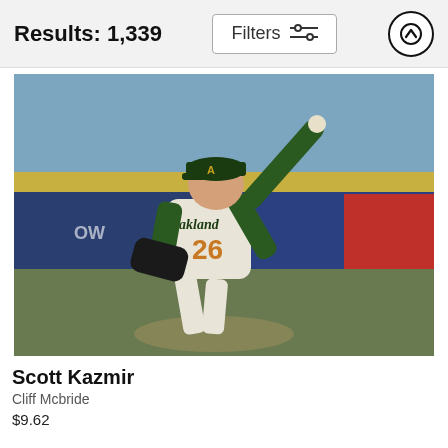Results: 1,339
Filters
[Figure (photo): Baseball pitcher Scott Kazmir in Oakland Athletics uniform number 26, winding up to throw a pitch on the mound, with crowd and stadium advertising in background.]
Scott Kazmir
Cliff Mcbride
$9.62